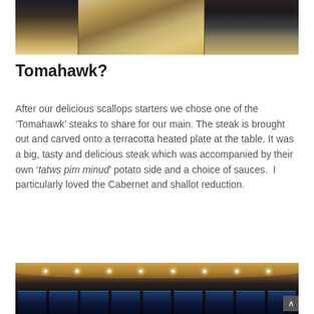[Figure (photo): Interior photo of an upscale restaurant or hotel lounge showing decorative carpet, seating, and ambient lighting]
Tomahawk?
After our delicious scallops starters we chose one of the ‘Tomahawk’ steaks to share for our main. The steak is brought out and carved onto a terracotta heated plate at the table. It was a big, tasty and delicious steak which was accompanied by their own ‘tatws pim minud’ potato side and a choice of sauces.  I particularly loved the Cabernet and shallot reduction.
[Figure (photo): Interior photo of an upscale restaurant showing ceiling with recessed lighting and large panoramic windows with a dark evening view]